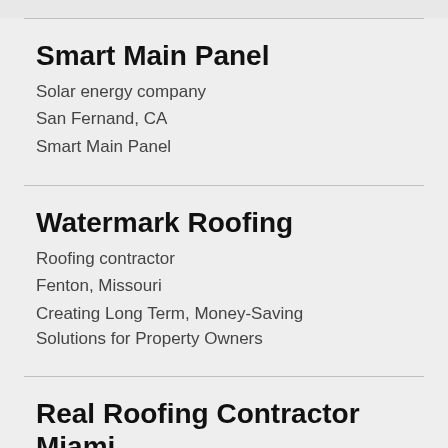Smart Main Panel
Solar energy company
San Fernand, CA
Smart Main Panel
Watermark Roofing
Roofing contractor
Fenton, Missouri
Creating Long Term, Money-Saving Solutions for Property Owners
Real Roofing Contractor Miami